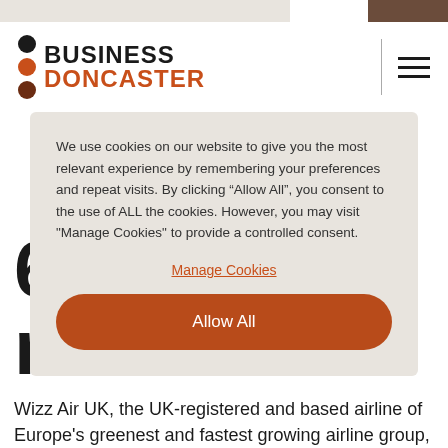[Figure (logo): Business Doncaster logo with three dots (black, orange, dark red) and bold text 'BUSINESS DONCASTER']
We use cookies on our website to give you the most relevant experience by remembering your preferences and repeat visits. By clicking “Allow All”, you consent to the use of ALL the cookies. However, you may visit "Manage Cookies" to provide a controlled consent.
Manage Cookies
Allow All
6 new routes
Wizz Air UK, the UK-registered and based airline of Europe’s greenest and fastest growing airline group,